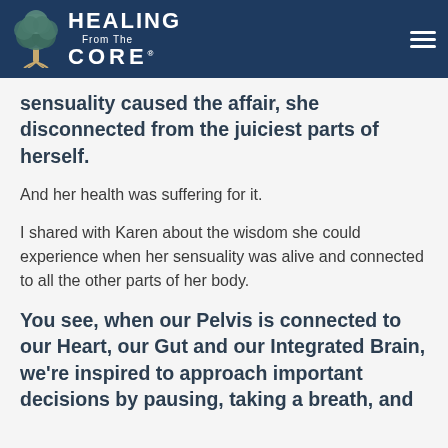[Figure (logo): Healing From The Core logo with tree graphic on dark navy background, with hamburger menu icon on right]
sensuality caused the affair, she disconnected from the juiciest parts of herself.
And her health was suffering for it.
I shared with Karen about the wisdom she could experience when her sensuality was alive and connected to all the other parts of her body.
You see, when our Pelvis is connected to our Heart, our Gut and our Integrated Brain, we're inspired to approach important decisions by pausing, taking a breath, and